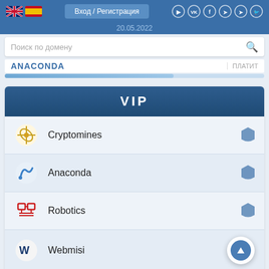Вход / Регистрация  20.05.2022
Поиск по домену
ANACONDA  ПЛАТИТ
VIP
Cryptomines
Anaconda
Robotics
Webmisi
Infinity Bet
Superkopilka
SolidTradeBank